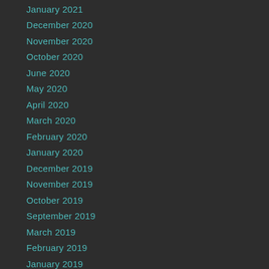January 2021
December 2020
November 2020
October 2020
June 2020
May 2020
April 2020
March 2020
February 2020
January 2020
December 2019
November 2019
October 2019
September 2019
March 2019
February 2019
January 2019
December 2018
November 2018
October 2018
August 2018